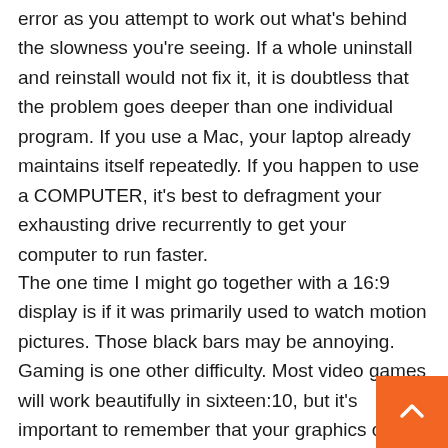error as you attempt to work out what's behind the slowness you're seeing. If a whole uninstall and reinstall would not fix it, it is doubtless that the problem goes deeper than one individual program. If you use a Mac, your laptop already maintains itself repeatedly. If you happen to use a COMPUTER, it's best to defragment your exhausting drive recurrently to get your computer to run faster.
The one time I might go together with a 16:9 display is if it was primarily used to watch motion pictures. Those black bars may be annoying. Gaming is one other difficulty. Most video games will work beautifully in sixteen:10, but it's important to remember that your graphics card will have to render more pixels as in comparison with a sixteen:9 monitor of the identical width, so you will get barely decrease FPS.